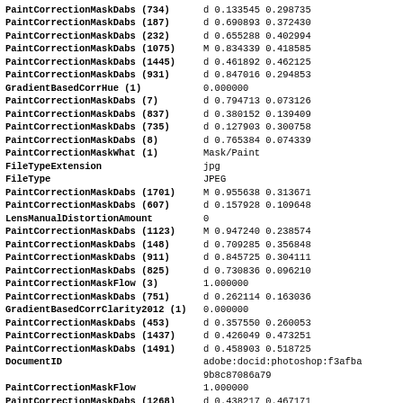| Field | Value |
| --- | --- |
| PaintCorrectionMaskDabs (734) | d 0.133545 0.298735 |
| PaintCorrectionMaskDabs (187) | d 0.690893 0.372430 |
| PaintCorrectionMaskDabs (232) | d 0.655288 0.402994 |
| PaintCorrectionMaskDabs (1075) | M 0.834339 0.418585 |
| PaintCorrectionMaskDabs (1445) | d 0.461892 0.462125 |
| PaintCorrectionMaskDabs (931) | d 0.847016 0.294853 |
| GradientBasedCorrHue (1) | 0.000000 |
| PaintCorrectionMaskDabs (7) | d 0.794713 0.073126 |
| PaintCorrectionMaskDabs (837) | d 0.380152 0.139409 |
| PaintCorrectionMaskDabs (735) | d 0.127903 0.300758 |
| PaintCorrectionMaskDabs (8) | d 0.765384 0.074339 |
| PaintCorrectionMaskWhat (1) | Mask/Paint |
| FileTypeExtension | jpg |
| FileType | JPEG |
| PaintCorrectionMaskDabs (1701) | M 0.955638 0.313671 |
| PaintCorrectionMaskDabs (607) | d 0.157928 0.109648 |
| LensManualDistortionAmount | 0 |
| PaintCorrectionMaskDabs (1123) | M 0.947240 0.238574 |
| PaintCorrectionMaskDabs (148) | d 0.709285 0.356848 |
| PaintCorrectionMaskDabs (911) | d 0.845725 0.304111 |
| PaintCorrectionMaskDabs (825) | d 0.730836 0.096210 |
| PaintCorrectionMaskFlow (3) | 1.000000 |
| PaintCorrectionMaskDabs (751) | d 0.262114 0.163036 |
| GradientBasedCorrClarity2012 (1) | 0.000000 |
| PaintCorrectionMaskDabs (453) | d 0.357550 0.260053 |
| PaintCorrectionMaskDabs (1437) | d 0.426049 0.473251 |
| PaintCorrectionMaskDabs (1491) | d 0.458903 0.518725 |
| DocumentID | adobe:docid:photoshop:f3afba9b8c87086a79 |
| PaintCorrectionMaskFlow | 1.000000 |
| PaintCorrectionMaskDabs (1268) | d 0.438217 0.467171 |
| DateCreated | 2009:05:27 09:13:29.031 |
| PaintCorrectionMaskDabs (1247) | d 0.426255 0.495287 |
| PostCropVignetteStyle | 1 |
| PaintCorrectionMaskDabs (913) | d 0.860454 0.301806 |
| PaintCorrectionMaskDabs (1343) | d 0.268906 0.438000 |
| PaintCorrectionMaskDabs (1012) | d 0.966650 0.337535 |